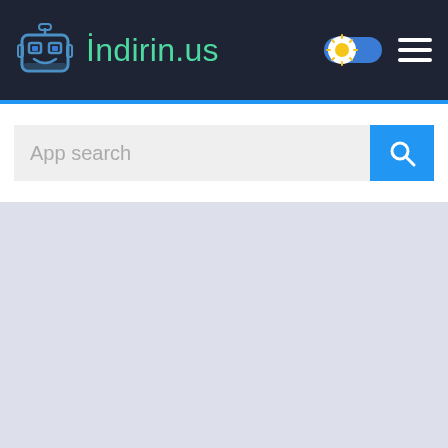İndirin.us
[Figure (screenshot): App search input field with blue search button and grey placeholder text reading 'App search']
[Figure (other): Light blue-grey empty content area below the search bar]